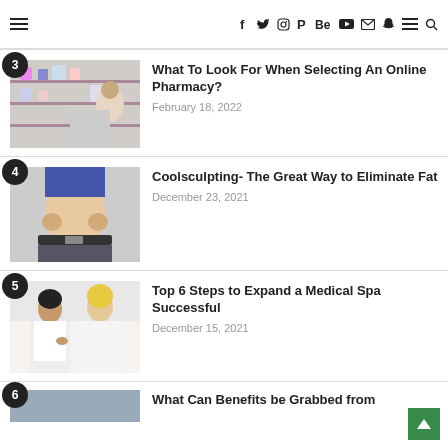Navigation bar with menu icon and social media icons (Facebook, Twitter, Instagram, Pinterest, Behance, YouTube, Email, Snapchat, Menu, Search)
3 — What To Look For When Selecting An Online Pharmacy? — February 18, 2022
4 — Coolsculpting- The Great Way to Eliminate Fat — December 23, 2021
5 — Top 6 Steps to Expand a Medical Spa Successful — December 15, 2021
6 — What Can Benefits be Grabbed from ...